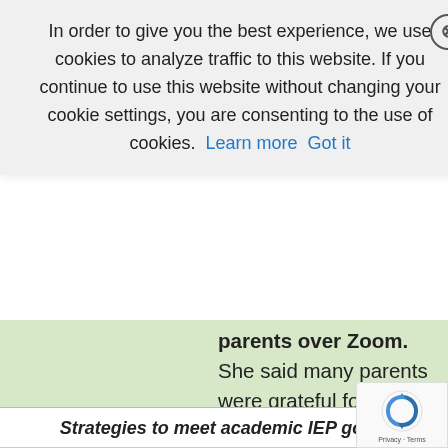In order to give you the best experience, we use cookies to analyze traffic to this website. If you continue to use this website without changing your cookie settings, you are consenting to the use of cookies.  Learn more  Got it
parents over Zoom. She said many parents were grateful for these opportunities to continue supporting their children's needs.
Strategies to meet academic IEP goals